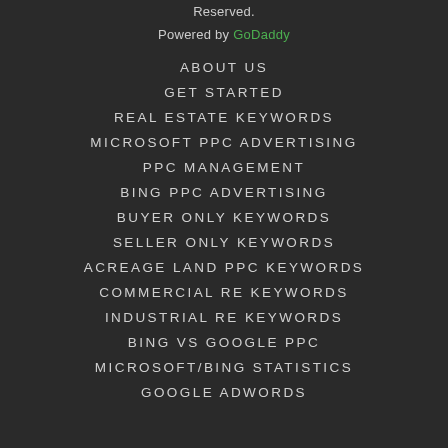Reserved.
Powered by GoDaddy
ABOUT US
GET STARTED
REAL ESTATE KEYWORDS
MICROSOFT PPC ADVERTISING
PPC MANAGEMENT
BING PPC ADVERTISING
BUYER ONLY KEYWORDS
SELLER ONLY KEYWORDS
ACREAGE LAND PPC KEYWORDS
COMMERCIAL RE KEYWORDS
INDUSTRIAL RE KEYWORDS
BING VS GOOGLE PPC
MICROSOFT/BING STATISTICS
GOOGLE ADWORDS